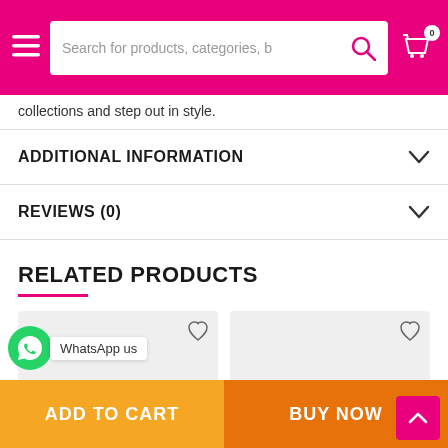Search for products, categories, b...
collections and step out in style.
ADDITIONAL INFORMATION
REVIEWS (0)
RELATED PRODUCTS
[Figure (other): Two product card placeholders with heart/wishlist icons]
WhatsApp us
ADD TO CART
BUY NOW